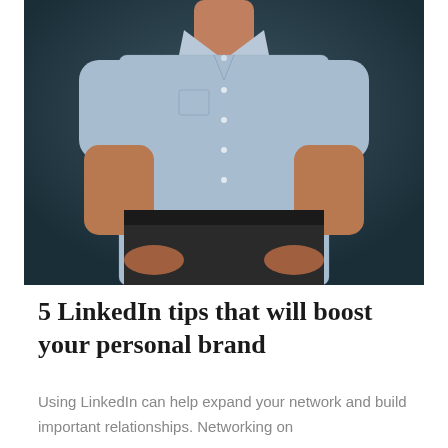[Figure (photo): A man from the neck down wearing a light blue short-sleeve button-up shirt and dark trousers, standing with hands in pockets against a dark teal/grey background.]
5 LinkedIn tips that will boost your personal brand
Using LinkedIn can help expand your network and build important relationships. Networking on